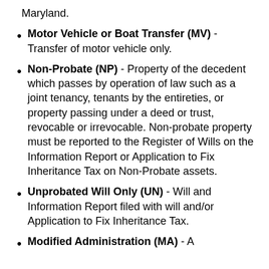Maryland.
Motor Vehicle or Boat Transfer (MV) - Transfer of motor vehicle only.
Non-Probate (NP) - Property of the decedent which passes by operation of law such as a joint tenancy, tenants by the entireties, or property passing under a deed or trust, revocable or irrevocable. Non-probate property must be reported to the Register of Wills on the Information Report or Application to Fix Inheritance Tax on Non-Probate assets.
Unprobated Will Only (UN) - Will and Information Report filed with will and/or Application to Fix Inheritance Tax.
Modified Administration (MA) - A